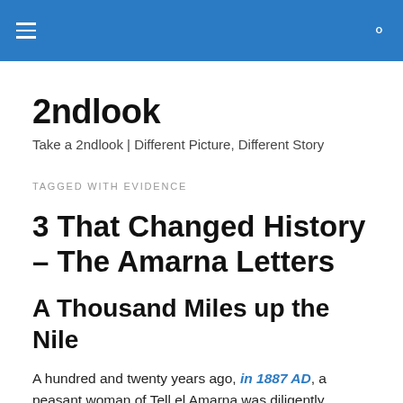2ndlook navigation bar
2ndlook
Take a 2ndlook | Different Picture, Different Story
TAGGED WITH EVIDENCE
3 That Changed History – The Amarna Letters
A Thousand Miles up the Nile
A hundred and twenty years ago, in 1887 AD, a peasant woman of Tell el Amarna was diligently illiterate up the Nile